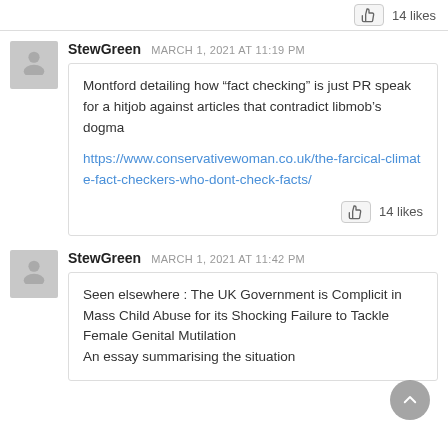14 likes
StewGreen   MARCH 1, 2021 AT 11:19 PM
Montford detailing how “fact checking” is just PR speak for a hitjob against articles that contradict libmob’s dogma
https://www.conservativewoman.co.uk/the-farcical-climate-fact-checkers-who-dont-check-facts/
14 likes
StewGreen   MARCH 1, 2021 AT 11:42 PM
Seen elsewhere : The UK Government is Complicit in Mass Child Abuse for its Shocking Failure to Tackle Female Genital Mutilation
An essay summarising the situation